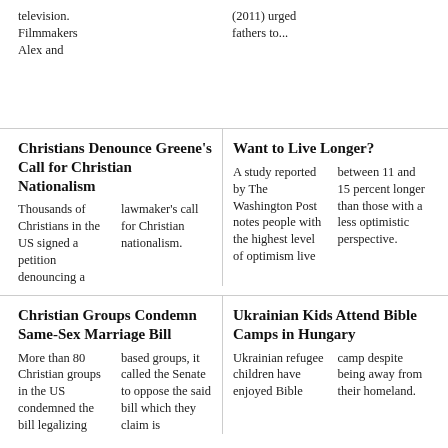television. Filmmakers Alex and
(2011) urged fathers to...
Christians Denounce Greene's Call for Christian Nationalism
Thousands of Christians in the US signed a petition denouncing a lawmaker's call for Christian nationalism.
Want to Live Longer?
A study reported by The Washington Post notes people with the highest level of optimism live between 11 and 15 percent longer than those with a less optimistic perspective.
Christian Groups Condemn Same-Sex Marriage Bill
More than 80 Christian groups in the US condemned the bill legalizing based groups, it called the Senate to oppose the said bill which they claim is
Ukrainian Kids Attend Bible Camps in Hungary
Ukrainian refugee children have enjoyed Bible camp despite being away from their homeland.